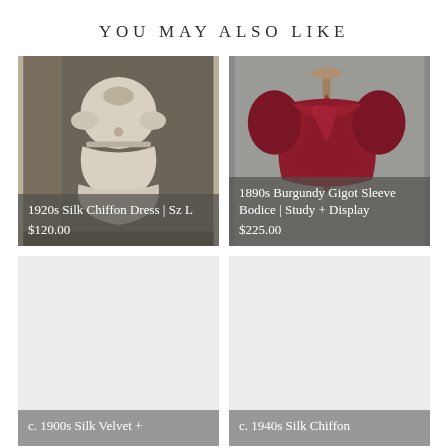YOU MAY ALSO LIKE
[Figure (photo): 1920s silk chiffon dress, off-white, short sleeves, layered skirt, displayed flat on a dark surface]
[Figure (photo): 1890s burgundy gigot sleeve bodice, draped on a dress form stand, deep red silk, puffed sleeves]
[Figure (photo): c. 1900s silk velvet item, mostly not visible, light gray placeholder background]
[Figure (photo): c. 1940s silk chiffon item, mostly not visible, light gray placeholder background]